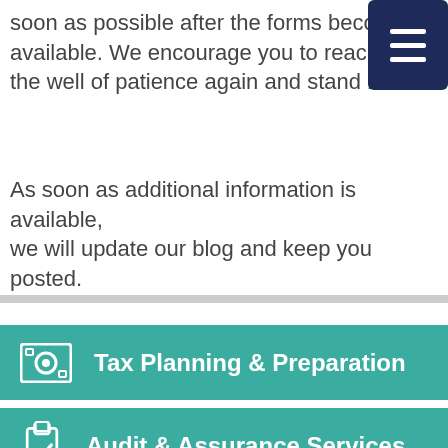soon as possible after the forms become available. We encourage you to reach out, draw from the well of patience again and stand by.
As soon as additional information is available, we will update our blog and keep you posted.
Tax Planning & Preparation
Audit & Assurance Services